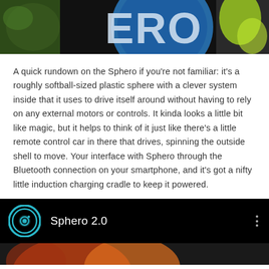[Figure (photo): Top portion of a Sphero promotional/product photo showing colorful logo with letters ERO visible on a dark background with green/yellow accents]
A quick rundown on the Sphero if you're not familiar: it's a roughly softball-sized plastic sphere with a clever system inside that it uses to drive itself around without having to rely on any external motors or controls. It kinda looks a little bit like magic, but it helps to think of it just like there's a little remote control car in there that drives, spinning the outside shell to move. Your interface with Sphero through the Bluetooth connection on your smartphone, and it's got a nifty little induction charging cradle to keep it powered.
[Figure (screenshot): Screenshot of a video player UI showing Sphero 2.0 with the Sphero logo (teal circular icon) on a black background, with a three-dot menu icon on the right, and a video preview at the bottom]